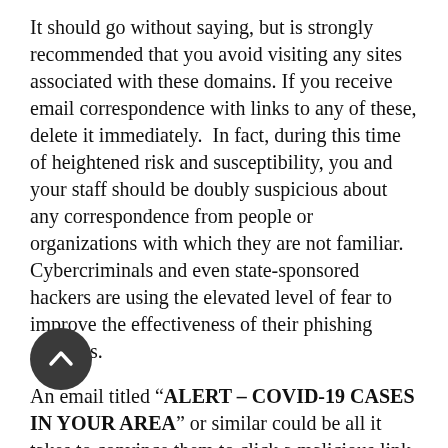It should go without saying, but is strongly recommended that you avoid visiting any sites associated with these domains. If you receive email correspondence with links to any of these, delete it immediately. In fact, during this time of heightened risk and susceptibility, you and your staff should be doubly suspicious about any correspondence from people or organizations with which they are not familiar. Cybercriminals and even state-sponsored hackers are using the elevated level of fear to improve the effectiveness of their phishing attempts.
An email titled "ALERT – COVID-19 CASES IN YOUR AREA" or similar could be all it takes to convince them to click a malicious link. A single misstep could lead to harmful software infecting their machine and their network. This initial compromise could eventually put sensitive or even mission critical data at risk. Even with security measures like VPNs in place, if the malicious software can log keystrokes, it can collect